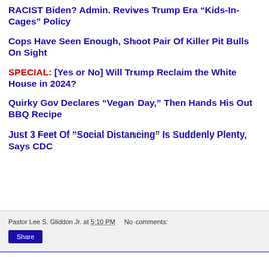RACIST Biden? Admin. Revives Trump Era “Kids-In-Cages” Policy
Cops Have Seen Enough, Shoot Pair Of Killer Pit Bulls On Sight
SPECIAL: [Yes or No] Will Trump Reclaim the White House in 2024?
Quirky Gov Declares “Vegan Day,” Then Hands His Out BBQ Recipe
Just 3 Feet Of “Social Distancing” Is Suddenly Plenty, Says CDC
Pastor Lee S. Gliddon Jr. at 5:10 PM   No comments:   Share